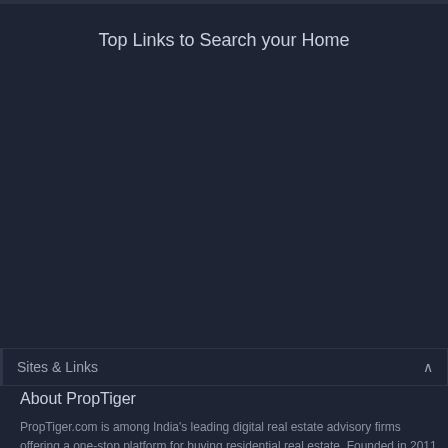Top Links to Search your Home
BUILDER IN CITY
Emaar India dubai
NCC Urban dubai
Lokhandwala Infrastructu...
ETA Star dubai
Builders in dubai
WHAT'S POPULAR
Under Construction Prop...
Luxury Projects In dubai
Affordable Apartments In ...
New Apartments In dubai
New Launch Projects in d...
TO
Re
Un
Lu
RE
RE
Sites & Links
About PropTiger
PropTiger.com is among India's leading digital real estate advisory firms offering a one-stop platform for buying residential real estate. Founded in 2011 with the goal to help people buy their